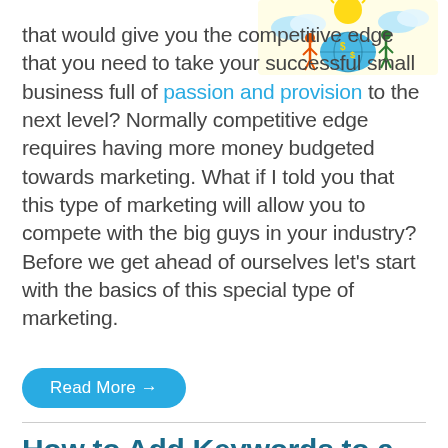[Figure (illustration): Colorful cartoon illustration of a globe with dollar signs, clouds, and human figures representing global business/marketing]
that would give you the competitive edge that you need to take your successful small business full of passion and provision to the next level? Normally competitive edge requires having more money budgeted towards marketing. What if I told you that this type of marketing will allow you to compete with the big guys in your industry? Before we get ahead of ourselves let's start with the basics of this special type of marketing.
Read More →
How to Add Keywords to a Website and Reach Your